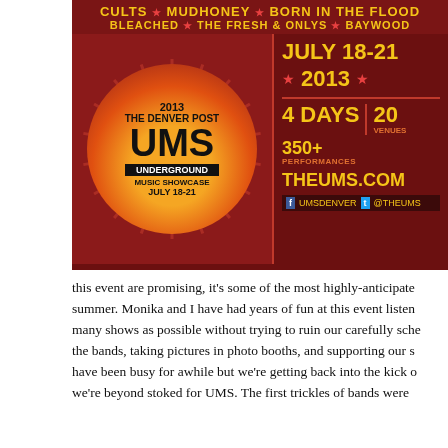[Figure (illustration): 2013 Denver Post UMS Underground Music Showcase festival poster. Left side shows sun/circle logo with '2013 THE DENVER POST UMS UNDERGROUND MUSIC SHOWCASE JULY 18-21'. Top band lists bands: CULTS, MUDHONEY, BORN IN THE FLOOD, BLEACHED, THE FRESH & ONLYS, BAYWOOD. Right side shows JULY 18-21 2013, 4 DAYS, 20 VENUES, 350+ PERFORMANCES, THEUMS.COM, social media handles UMSDENVER and @THEUMS.]
this event are promising, it's some of the most highly-anticipated summer. Monika and I have had years of fun at this event listening to many shows as possible without trying to ruin our carefully scheduled the bands, taking pictures in photo booths, and supporting our s... have been busy for awhile but we're getting back into the kick of... we're beyond stoked for UMS. The first trickles of bands were...